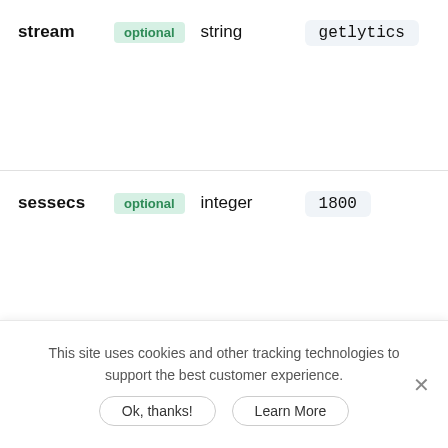| Parameter | Required | Type | Default |
| --- | --- | --- | --- |
| stream | optional | string | getlytics |
| sessecs | optional | integer | 1800 |
This site uses cookies and other tracking technologies to support the best customer experience.